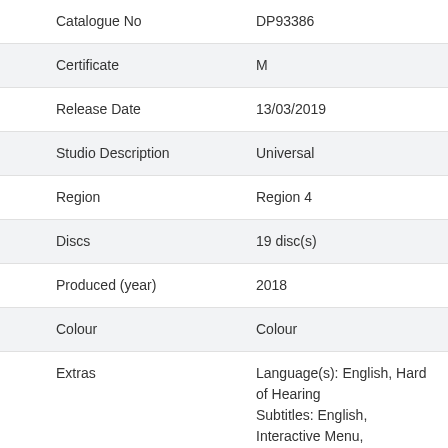| Field | Value |
| --- | --- |
| Catalogue No | DP93386 |
| Certificate | M |
| Release Date | 13/03/2019 |
| Studio Description | Universal |
| Region | Region 4 |
| Discs | 19 disc(s) |
| Produced (year) | 2018 |
| Colour | Colour |
| Extras | Language(s): English, Hard of Hearing Subtitles: English, Interactive Menu, Screen ratio 1:1.78, Dolby Digital 2.0 Stereo, Dolby Digital 5.1, [1] [gift] Footage, Character Profiles, |